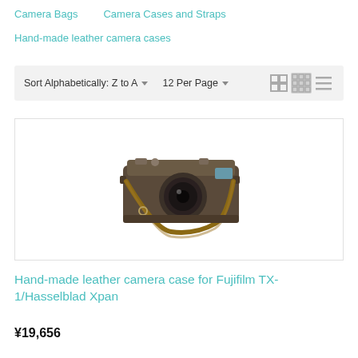Camera Bags   Camera Cases and Straps
Hand-made leather camera cases
Sort Alphabetically: Z to A   12 Per Page
[Figure (photo): A hand-made leather camera case on a Fujifilm TX-1/Hasselblad Xpan camera with a leather wrist strap, photographed on white background]
Hand-made leather camera case for Fujifilm TX-1/Hasselblad Xpan
¥19,656